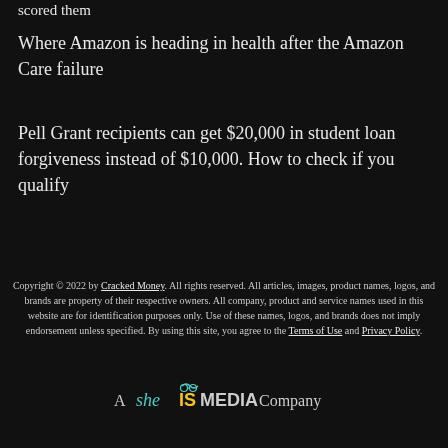scored them
Where Amazon is heading in health after the Amazon Care failure
Pell Grant recipients can get $20,000 in student loan forgiveness instead of $10,000. How to check if you qualify
Copyright © 2022 by Cracked Money. All rights reserved. All articles, images, product names, logos, and brands are property of their respective owners. All company, product and service names used in this website are for identification purposes only. Use of these names, logos, and brands does not imply endorsement unless specified. By using this site, you agree to the Terms of Use and Privacy Policy.
[Figure (logo): SheIS MEDIA logo with stylized text - 'A SheIS MEDIA Company']